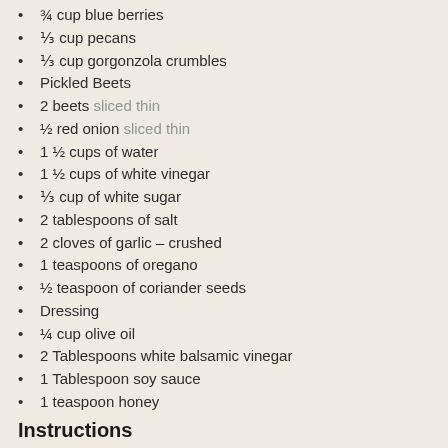¾ cup blue berries
⅓ cup pecans
⅓ cup gorgonzola crumbles
Pickled Beets
2 beets sliced thin
½ red onion sliced thin
1 ½ cups of water
1 ½ cups of white vinegar
⅓ cup of white sugar
2 tablespoons of salt
2 cloves of garlic – crushed
1 teaspoons of oregano
½ teaspoon of coriander seeds
Dressing
¼ cup olive oil
2 Tablespoons white balsamic vinegar
1 Tablespoon soy sauce
1 teaspoon honey
Instructions
Add all the pickling ingredients into a large pot and bring to a boil.
In the meantime add your beets and onions to a canning jar.
When the pickle solution has boiled, pour it over the beets. You may have extra pickling juice so either throw away or save for another jar.
Let pickled beets cool and then add a lid and put in the refrigerator over night.
Then...